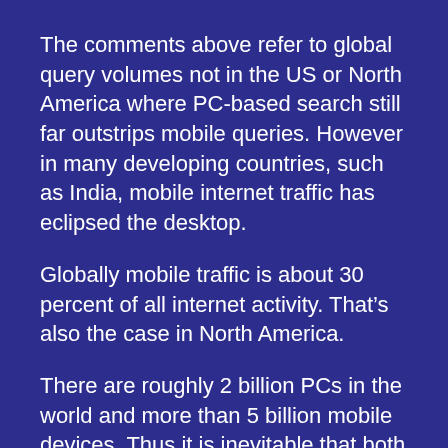The comments above refer to global query volumes not in the US or North America where PC-based search still far outstrips mobile queries. However in many developing countries, such as India, mobile internet traffic has eclipsed the desktop.
Globally mobile traffic is about 30 percent of all internet activity. That’s also the case in North America.
There are roughly 2 billion PCs in the world and more than 5 billion mobile devices. Thus it is inevitable that both mobile internet traffic and mobile search will ultimately surpass the PC globally.
Still when it happens it will be sobering and